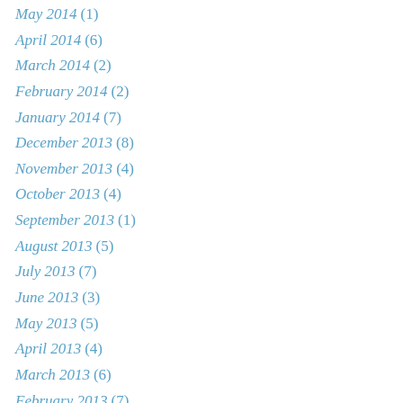May 2014 (1)
April 2014 (6)
March 2014 (2)
February 2014 (2)
January 2014 (7)
December 2013 (8)
November 2013 (4)
October 2013 (4)
September 2013 (1)
August 2013 (5)
July 2013 (7)
June 2013 (3)
May 2013 (5)
April 2013 (4)
March 2013 (6)
February 2013 (7)
January 2013 (6)
December 2012 (3)
November 2012 (14)
October 2012 (3)